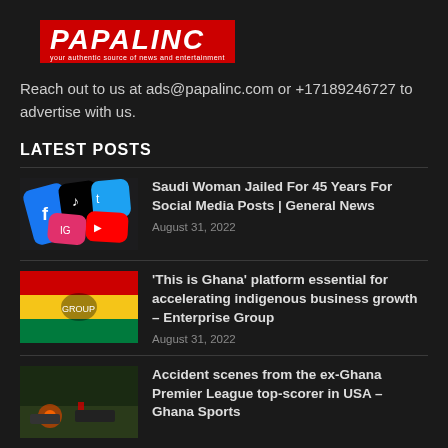[Figure (logo): Papalinc logo with red background and white italic bold text, tagline below]
Reach out to us at ads@papalinc.com or +17189246727 to advertise with us.
LATEST POSTS
[Figure (photo): Smartphone showing social media app icons including Facebook, TikTok, Twitter, Instagram, YouTube]
Saudi Woman Jailed For 45 Years For Social Media Posts | General News
August 31, 2022
[Figure (photo): Group of people at an event with a colorful banner, Ghana themed gathering]
‘This is Ghana’ platform essential for accelerating indigenous business growth – Enterprise Group
August 31, 2022
[Figure (photo): Accident scene with emergency vehicles and smoke]
Accident scenes from the ex-Ghana Premier League top-scorer in USA – Ghana Sports